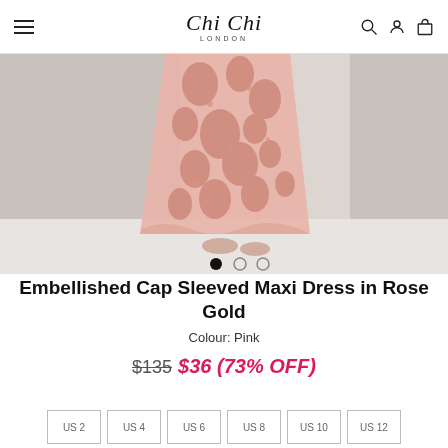Chi Chi London
[Figure (photo): Close-up photo of lower half of an embellished cap sleeved maxi dress in rose gold/pink, showing floral lace pattern with sequins, worn with metallic heeled sandals, on a white background corner. Image carousel dots visible at bottom.]
Embellished Cap Sleeved Maxi Dress in Rose Gold
Colour: Pink
$135  $36 (73% OFF)
US 2  US 4  US 6  US 8  US 10  US 12